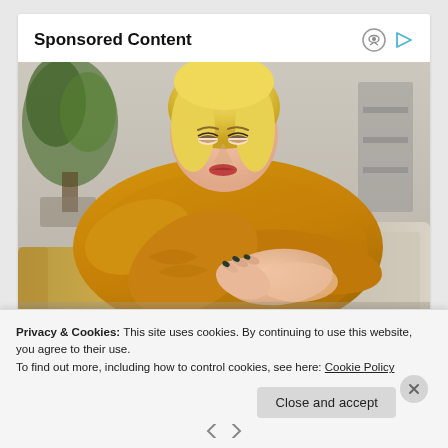Sponsored Content
[Figure (photo): A young blonde woman in a yellow knit sweater looking down at her arm/wrist, sitting on a couch. She appears to be examining or scratching her arm. Background shows a grey sofa, yellow cushion, and indoor plant.]
Privacy & Cookies: This site uses cookies. By continuing to use this website, you agree to their use.
To find out more, including how to control cookies, see here: Cookie Policy
Close and accept